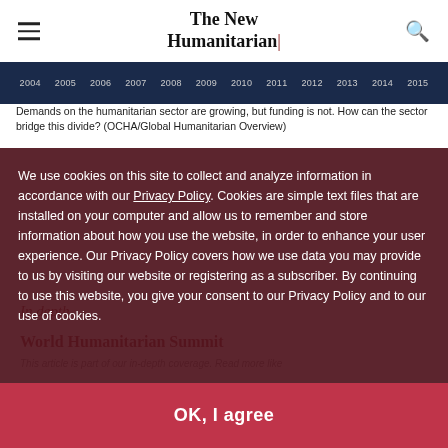The New Humanitarian
[Figure (screenshot): Partial view of a chart showing years 2004 through 2015 on x-axis, dark navy background, representing humanitarian funding data]
Demands on the humanitarian sector are growing, but funding is not. How can the sector bridge this divide? (OCHA/Global Humanitarian Overview)
In depth
World Humanitarian Summit
This article is part of our in-depth coverage. Read more like
Also available in: Français
Aid organisations need to be more transparent,
report laying out a high-level panel's key finance recommendations ahead of the World
We use cookies on this site to collect and analyze information in accordance with our Privacy Policy. Cookies are simple text files that are installed on your computer and allow us to remember and store information about how you use the website, in order to enhance your user experience. Our Privacy Policy covers how we use data you may provide to us by visiting our website or registering as a subscriber. By continuing to use this website, you give your consent to our Privacy Policy and to our use of cookies.
OK, I agree